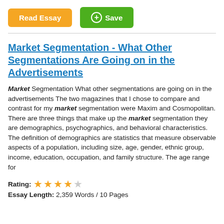[Figure (other): Orange 'Read Essay' button and green '+ Save' button]
Market Segmentation - What Other Segmentations Are Going on in the Advertisements
Market Segmentation What other segmentations are going on in the advertisements The two magazines that I chose to compare and contrast for my market segmentation were Maxim and Cosmopolitan. There are three things that make up the market segmentation they are demographics, psychographics, and behavioral characteristics. The definition of demographics are statistics that measure observable aspects of a population, including size, age, gender, ethnic group, income, education, occupation, and family structure. The age range for
Rating: ★★★★☆
Essay Length: 2,359 Words / 10 Pages